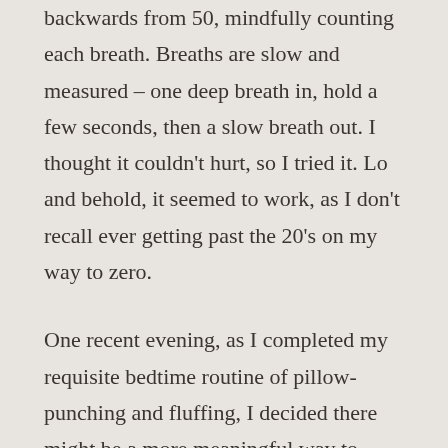backwards from 50, mindfully counting each breath. Breaths are slow and measured – one deep breath in, hold a few seconds, then a slow breath out. I thought it couldn't hurt, so I tried it. Lo and behold, it seemed to work, as I don't recall ever getting past the 20's on my way to zero.
One recent evening, as I completed my requisite bedtime routine of pillow-punching and fluffing, I decided there might be a more meaningful way to spend my countdown to